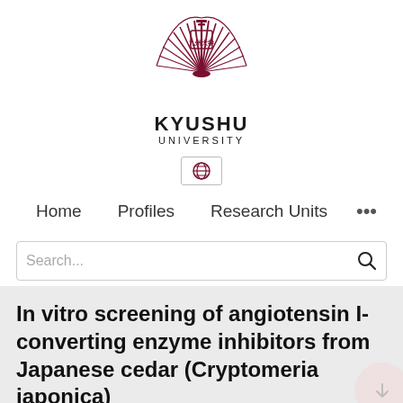[Figure (logo): Kyushu University logo: a stylized phoenix/fan-like emblem in dark red/maroon with the text KYUSHU UNIVERSITY below it]
[Figure (screenshot): Navigation bar with globe icon button, Home, Profiles, Research Units, and ellipsis menu items, and a Search... input box]
In vitro screening of angiotensin I-converting enzyme inhibitors from Japanese cedar (Cryptomeria japonica)